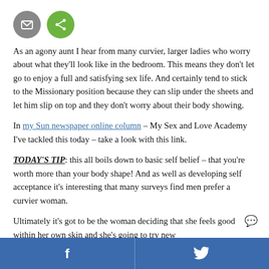[Figure (other): Two circular icon buttons: a grey email icon and a green share icon]
As an agony aunt I hear from many curvier, larger ladies who worry about what they'll look like in the bedroom. This means they don't let go to enjoy a full and satisfying sex life. And certainly tend to stick to the Missionary position because they can slip under the sheets and let him slip on top and they don't worry about their body showing.
In my Sun newspaper online column – My Sex and Love Academy I've tackled this today – take a look with this link.
TODAY'S TIP: this all boils down to basic self belief – that you're worth more than your body shape! And as well as developing self acceptance it's interesting that many surveys find men prefer a curvier woman.
Ultimately it's got to be the woman deciding that she feels good within her own skin and she's going to try new
f  [twitter bird icon]